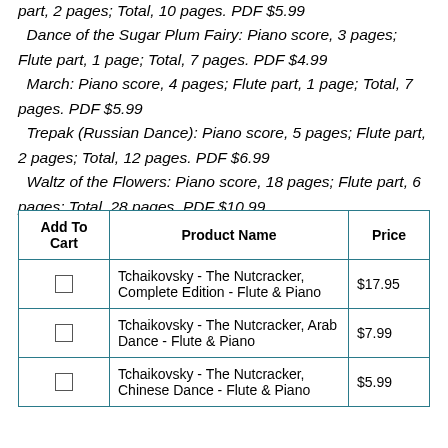part, 2 pages; Total, 10 pages. PDF $5.99 Dance of the Sugar Plum Fairy: Piano score, 3 pages; Flute part, 1 page; Total, 7 pages. PDF $4.99 March: Piano score, 4 pages; Flute part, 1 page; Total, 7 pages. PDF $5.99 Trepak (Russian Dance): Piano score, 5 pages; Flute part, 2 pages; Total, 12 pages. PDF $6.99 Waltz of the Flowers: Piano score, 18 pages; Flute part, 6 pages; Total, 28 pages. PDF $10.99
| Add To Cart | Product Name | Price |
| --- | --- | --- |
| ☐ | Tchaikovsky - The Nutcracker, Complete Edition - Flute & Piano | $17.95 |
| ☐ | Tchaikovsky - The Nutcracker, Arab Dance - Flute & Piano | $7.99 |
| ☐ | Tchaikovsky - The Nutcracker, Chinese Dance - Flute & Piano | $5.99 |